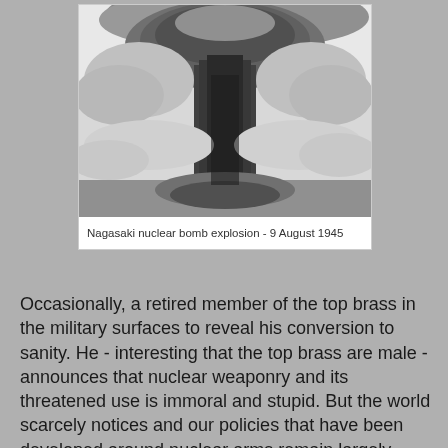[Figure (photo): Black and white photograph of the Nagasaki nuclear bomb mushroom cloud explosion taken on 9 August 1945, viewed from the air with clouds visible around the large rising smoke column.]
Nagasaki nuclear bomb explosion - 9 August 1945
Occasionally, a retired member of the top brass in the military surfaces to reveal his conversion to sanity. He - interesting that the top brass are male - announces that nuclear weaponry and its threatened use is immoral and stupid. But the world scarcely notices and our policies that have been developed around nuclear arms remain largely unchanged. There has been some reduction in the number